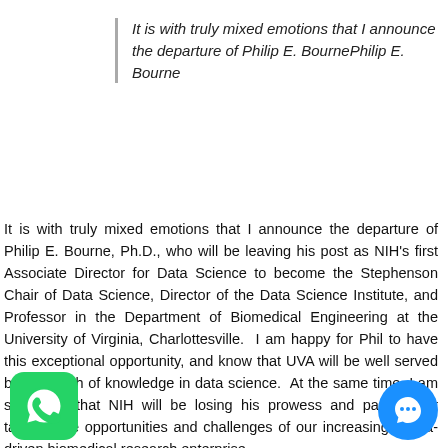It is with truly mixed emotions that I announce the departure of Philip E. BournePhilip E. Bourne
It is with truly mixed emotions that I announce the departure of Philip E. Bourne, Ph.D., who will be leaving his post as NIH’s first Associate Director for Data Science to become the Stephenson Chair of Data Science, Director of the Data Science Institute, and Professor in the Department of Biomedical Engineering at the University of Virginia, Charlottesville.  I am happy for Phil to have this exceptional opportunity, and know that UVA will be well served by his depth of knowledge in data science.  At the same time, I am saddened that NIH will be losing his prowess and passion for tackling the opportunities and challenges of our increasingly data-driven biomedical research enterprise.